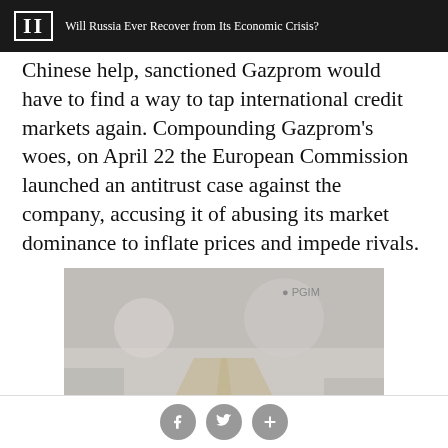II  Will Russia Ever Recover from Its Economic Crisis?
Chinese help, sanctioned Gazprom would have to find a way to tap international credit markets again. Compounding Gazprom's woes, on April 22 the European Commission launched an antitrust case against the company, accusing it of abusing its market dominance to inflate prices and impede rivals.
[Figure (photo): A faded, washed-out photograph of a road stretching through a winter landscape with bare trees, watermarked with PGIM logo in the top right corner.]
Social share buttons: Facebook, Twitter, Plus